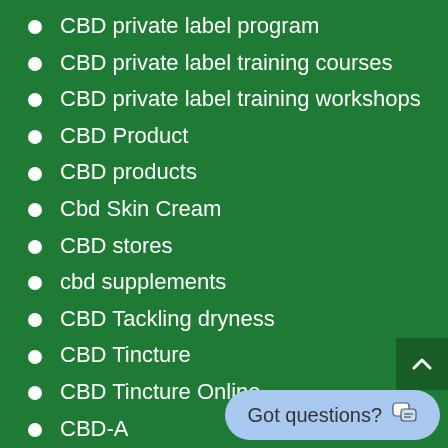CBD private label program
CBD private label training courses
CBD private label training workshops
CBD Product
CBD products
Cbd Skin Cream
CBD stores
cbd supplements
CBD Tackling dryness
CBD Tincture
CBD Tincture Online
CBD-A
CBG
CBN